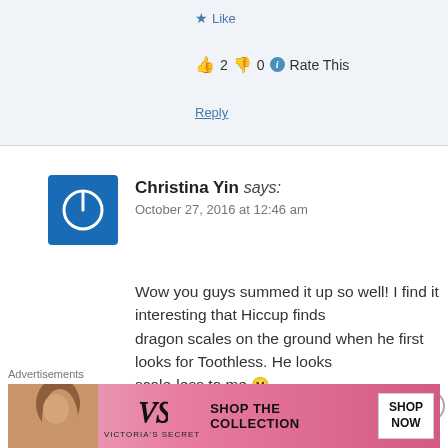★ Like
👍 2  👎 0  ℹ Rate This
Reply
Christina Yin says: October 27, 2016 at 12:46 am
Wow you guys summed it up so well! I find it interesting that Hiccup finds dragon scales on the ground when he first looks for Toothless. He looks scale-less to me 😀
★ Like
👍 2  👎 0  ℹ Rate This
Advertisements
[Figure (advertisement): Victoria's Secret advertisement banner with woman model, VS logo, SHOP THE COLLECTION text and SHOP NOW button]